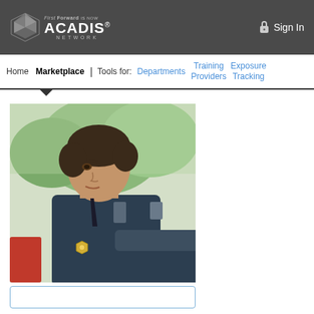First Forward is now ACADIS® NETWORK — Sign In
Home | Marketplace | Tools for: Departments | Training Providers | Exposure Tracking
[Figure (photo): A male police officer in uniform with a badge, leaning on a vehicle, with trees in the background.]